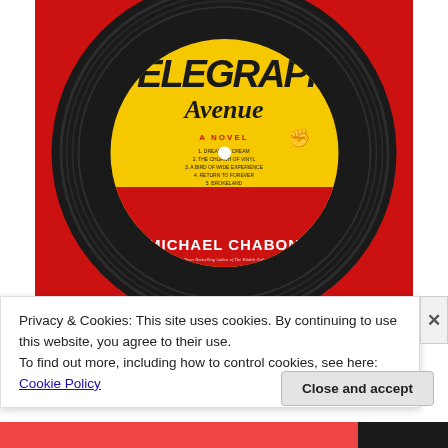[Figure (photo): Book cover of 'Telegraph Avenue: A Novel' by Michael Chabon. Designed as a vinyl record label on a red background. The yellow circular label shows 'TELEGRAPH AVENUE' in large bold lettering, 'A NOVEL' in red, track listing including 1. Dream of Cream, 2. The Church of Vinyl, 3. A Bird of Wide Experience, 4. Return to Forever, 5. Brokeland. Author name 'MICHAEL CHABON' in white on red band at bottom of circle.]
Privacy & Cookies: This site uses cookies. By continuing to use this website, you agree to their use.
To find out more, including how to control cookies, see here: Cookie Policy
Close and accept